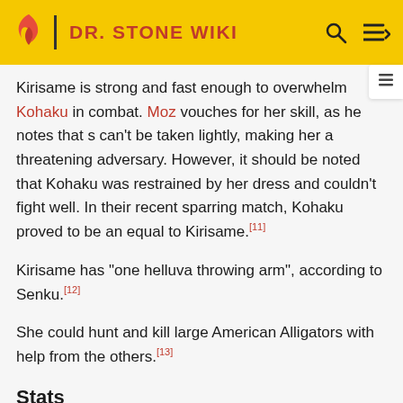DR. STONE WIKI
Kirisame is strong and fast enough to overwhelm Kohaku in combat. Moz vouches for her skill, as he notes that she can't be taken lightly, making her a threatening adversary. However, it should be noted that Kohaku was restrained by her dress and couldn't fight well. In their recent sparring match, Kohaku proved to be an equal to Kirisame.[11]
Kirisame has "one helluva throwing arm", according to Senku.[12]
She could hunt and kill large American Alligators with help from the others.[13]
Stats